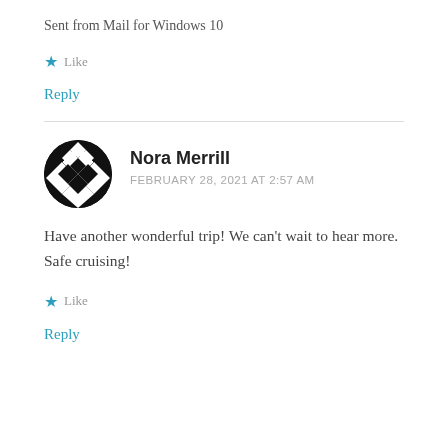Sent from Mail for Windows 10
★ Like
Reply
Nora Merrill
FEBRUARY 28, 2021 AT 2:57 AM
Have another wonderful trip! We can't wait to hear more. Safe cruising!
★ Like
Reply